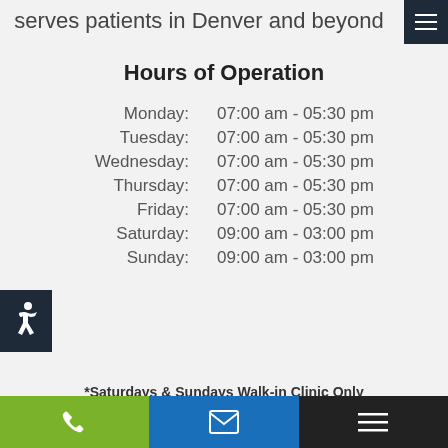serves patients in Denver and beyond
Hours of Operation
| Day | Hours |
| --- | --- |
| Monday: | 07:00 am - 05:30 pm |
| Tuesday: | 07:00 am - 05:30 pm |
| Wednesday: | 07:00 am - 05:30 pm |
| Thursday: | 07:00 am - 05:30 pm |
| Friday: | 07:00 am - 05:30 pm |
| Saturday: | 09:00 am - 03:00 pm |
| Sunday: | 09:00 am - 03:00 pm |
*Saturdays & Sundays Walk-in Clinic Only
Weekend Prevention Clinic >
Location